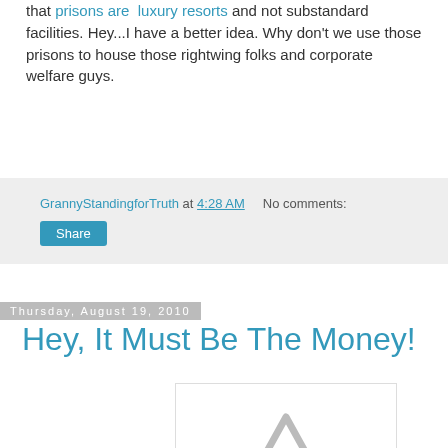that prisons are luxury resorts and not substandard facilities. Hey...I have a better idea. Why don't we use those prisons to house those rightwing folks and corporate welfare guys.
GrannyStandingforTruth at 4:28 AM    No comments:
Share
Thursday, August 19, 2010
Hey, It Must Be The Money!
[Figure (illustration): Broken image placeholder showing a grey warning triangle with exclamation mark]